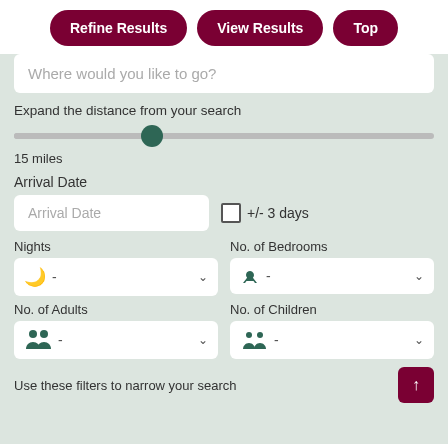Refine Results | View Results | Top
Where would you like to go?
Expand the distance from your search
15 miles
Arrival Date
Arrival Date
+/- 3 days
Nights
No. of Bedrooms
No. of Adults
No. of Children
Use these filters to narrow your search